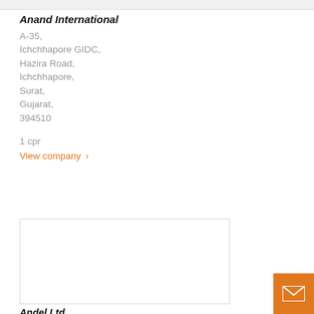Anand International
A-35,
Ichchhapore GIDC,
Hazira Road,
Ichchhapore,
Surat,
Gujarat,
394510
1 cpr
View company >
[Figure (other): Empty white card/image box with light border]
Andel Ltd